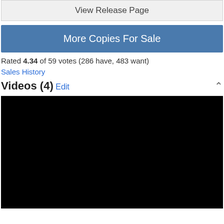View Release Page
More Copies For Sale
Rated 4.34 of 59 votes (286 have, 483 want)
Sales History
Videos (4)
[Figure (other): Black video player area]